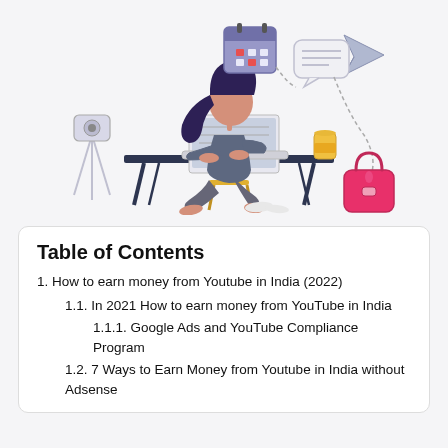[Figure (illustration): Illustration of a woman with dark hair sitting at a desk working on a laptop. A camera on a tripod is to her left. Above the desk are icons: a calendar, a speech/message bubble with lines, and a paper airplane. A yellow cup is on the desk. A pink handbag and white shoes are on the floor. Dashed curved lines connect elements. Background is light grey.]
Table of Contents
1. How to earn money from Youtube in India (2022)
1.1. In 2021 How to earn money from YouTube in India
1.1.1. Google Ads and YouTube Compliance Program
1.2. 7 Ways to Earn Money from Youtube in India without Adsense